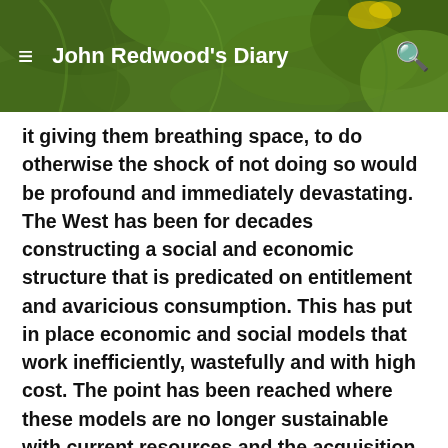John Redwood's Diary
it giving them breathing space, to do otherwise the shock of not doing so would be profound and immediately devastating. The West has been for decades constructing a social and economic structure that is predicated on entitlement and avaricious consumption. This has put in place economic and social models that work inefficiently, wastefully and with high cost. The point has been reached where these models are no longer sustainable with current resources and the acquisition of the extra resources needed not possible. These models have to be radically reformed quickly if impoverishment is to be reversed. However current evidence suggests that no real attempt at reform is being made in fact the opposite appears to be happening. The end result of all these measures to keep economies solvent is therefore doomed to failure.